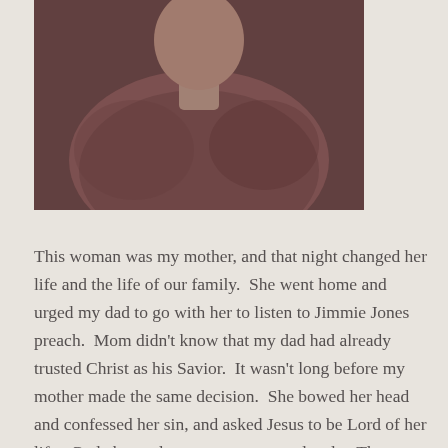[Figure (photo): Vintage sepia-toned photograph of a person (likely a woman) in a reddish-brown or mauve top, cropped showing upper body, partial face visible at top]
This woman was my mother, and that night changed her life and the life of our family.  She went home and urged my dad to go with her to listen to Jimmie Jones preach.  Mom didn't know that my dad had already trusted Christ as his Savior.  It wasn't long before my mother made the same decision.  She bowed her head and confessed her sin, and asked Jesus to be Lord of her life.  God changed my parents tremendously.  They raised their five children to know and serve the Lord, and they left us a spiritual